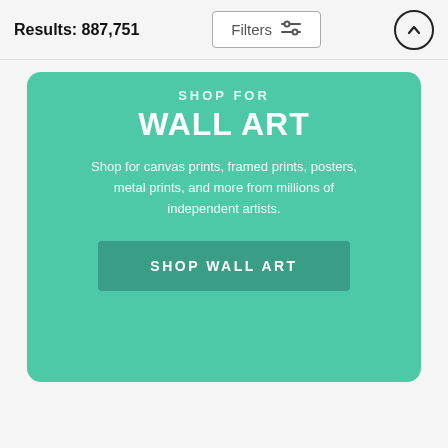Results: 887,751
SHOP FOR
WALL ART
Shop for canvas prints, framed prints, posters, metal prints, and more from millions of independent artists.
SHOP WALL ART